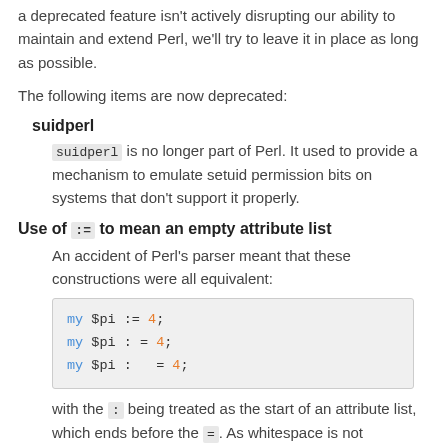a deprecated feature isn't actively disrupting our ability to maintain and extend Perl, we'll try to leave it in place as long as possible.
The following items are now deprecated:
suidperl
suidperl is no longer part of Perl. It used to provide a mechanism to emulate setuid permission bits on systems that don't support it properly.
Use of := to mean an empty attribute list
An accident of Perl's parser meant that these constructions were all equivalent:
[Figure (other): Code block showing three equivalent Perl statements: my $pi := 4; / my $pi : = 4; / my $pi :   = 4;]
with the : being treated as the start of an attribute list, which ends before the =. As whitespace is not